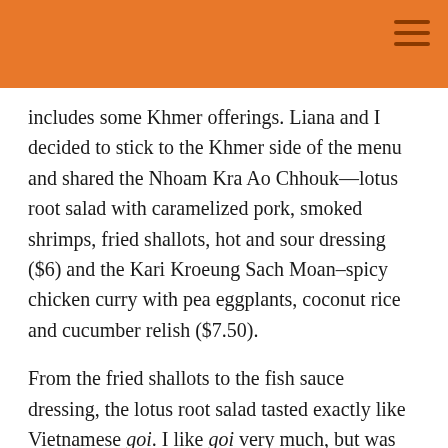includes some Khmer offerings. Liana and I decided to stick to the Khmer side of the menu and shared the Nhoam Kra Ao Chhouk—lotus root salad with caramelized pork, smoked shrimps, fried shallots, hot and sour dressing ($6) and the Kari Kroeung Sach Moan–spicy chicken curry with pea eggplants, coconut rice and cucumber relish ($7.50).
From the fried shallots to the fish sauce dressing, the lotus root salad tasted exactly like Vietnamese goi. I like goi very much, but was hoping for a Cambodian twist. The chicken curry was bland and the pea eggplants were bitter little things. The Astronomer hoped to relive the glory of our first dinner and ordered the Fish Amok—classic steamed fish curry served with steamed rice, spiced coconut milk & tamarind chutney ($7). Much like